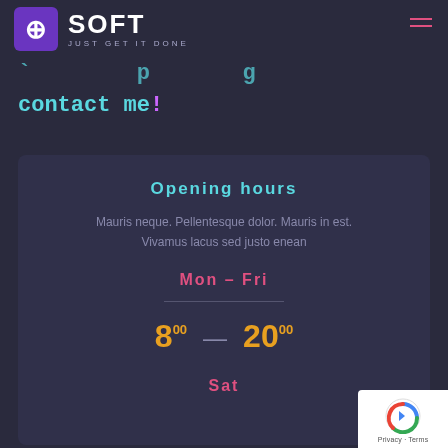SOFT — JUST GET IT DONE
contact me!
Opening hours
Mauris neque. Pellentesque dolor. Mauris in est. Vivamus lacus sed justo enean
Mon – Fri
8:00 – 20:00
Sat